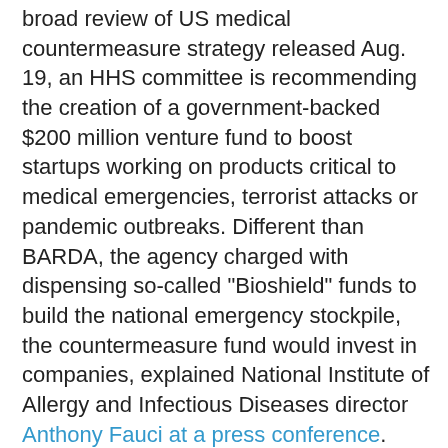broad review of US medical countermeasure strategy released Aug. 19, an HHS committee is recommending the creation of a government-backed $200 million venture fund to boost startups working on products critical to medical emergencies, terrorist attacks or pandemic outbreaks. Different than BARDA, the agency charged with dispensing so-called "Bioshield" funds to build the national emergency stockpile, the countermeasure fund would invest in companies, explained National Institute of Allergy and Infectious Diseases director Anthony Fauci at a press conference. Known for now as MCMSI, the fund needs Congressional authorization. It would focus on companies developing new drugs to fight multi-drug resistant organisms, novel mechanisms for disrupting pathogenesis through host pathway targeting, and multi-use platform technologies for diagnostics, vaccines/prophylaxis and therapeutics, according to the review report. (The full HHS review is available here, with the MCMSI section on page 15.) As proposed, the fund would operate independently of the government and try to leverage private capital. The HHS committee cited as a relevant model In-Q-Tel, a CIA-funded firm that invests in intelligence high-tech. -- Cathy